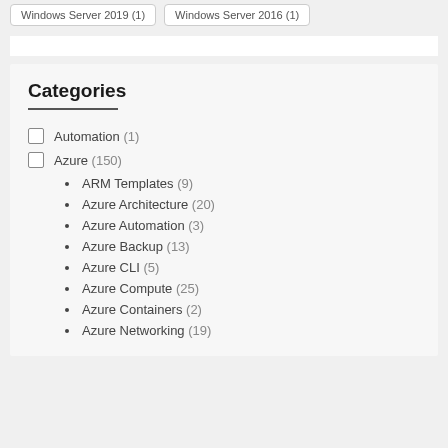Windows Server 2019 (1)   Windows Server 2016 (1)
Categories
Automation (1)
Azure (150)
ARM Templates (9)
Azure Architecture (20)
Azure Automation (3)
Azure Backup (13)
Azure CLI (5)
Azure Compute (25)
Azure Containers (2)
Azure Networking (19)